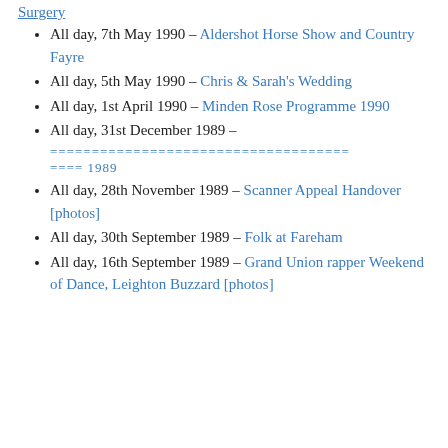All day, 7th May 1990 – Aldershot Horse Show and Country Fayre
All day, 5th May 1990 – Chris & Sarah's Wedding
All day, 1st April 1990 – Minden Rose Programme 1990
All day, 31st December 1989 –
==================================== ==== 1989
All day, 28th November 1989 – Scanner Appeal Handover [photos]
All day, 30th September 1989 – Folk at Fareham
All day, 16th September 1989 – Grand Union rapper Weekend of Dance, Leighton Buzzard [photos]